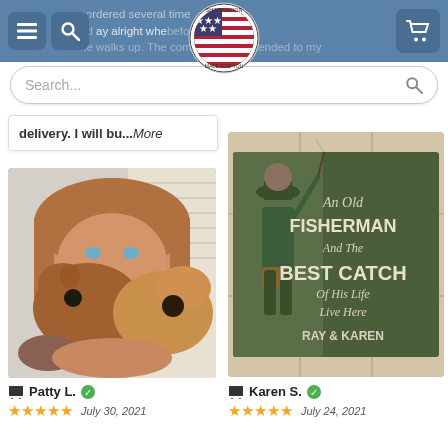Navigation bar with menu, search, and cart buttons; Shirtnation logo
delivery. I will bu...More
[Figure (photo): Woman holding two small dogs close to her face, indoors]
Patty L. [verified] — 5 stars — July 30, 2021
[Figure (photo): Doormat reading: An Old FISHERMAN And The BEST CATCH Of His Life Live Here — RAY & KAREN]
Karen S. [verified] — 5 stars — July 24, 2021